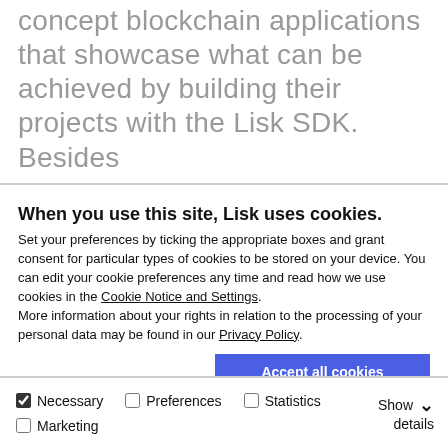concept blockchain applications that showcase what can be achieved by building their projects with the Lisk SDK. Besides
When you use this site, Lisk uses cookies.
Set your preferences by ticking the appropriate boxes and grant consent for particular types of cookies to be stored on your device. You can edit your cookie preferences any time and read how we use cookies in the Cookie Notice and Settings. More information about your rights in relation to the processing of your personal data may be found in our Privacy Policy.
Accept all cookies
Allow selection
Use necessary cookies only
Necessary  Preferences  Statistics  Marketing  Show details